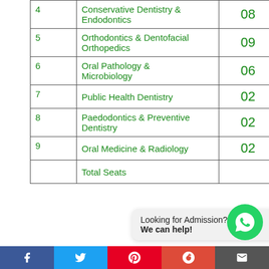| # | Department | Seats |
| --- | --- | --- |
| 4 | Conservative Dentistry & Endodontics | 08 |
| 5 | Orthodontics & Dentofacial Orthopedics | 09 |
| 6 | Oral Pathology & Microbiology | 06 |
| 7 | Public Health Dentistry | 02 |
| 8 | Paedodontics & Preventive Dentistry | 02 |
| 9 | Oral Medicine & Radiology | 02 |
|  | Total Seats |  |
Looking for Admission? We can help!